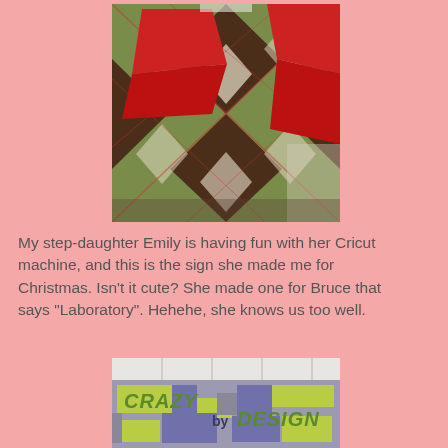[Figure (photo): Photo of argyle patterned fabric (green, brown, cream, red/pink) and red folded fabric pieces draped over what appears to be a chair or surface with a floral background]
My step-daughter Emily is having fun with her Cricut machine, and this is the sign she made me for Christmas. Isn't it cute? She made one for Bruce that says "Laboratory". Hehehe, she knows us too well.
[Figure (photo): Photo of a handmade sign that reads 'CRAZY by DESIGN' with colorful geometric/patchwork style background in purple, green, and gray tones]